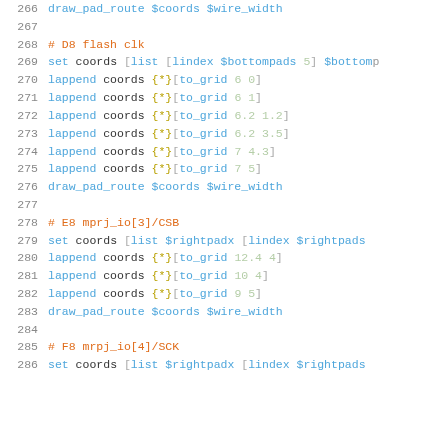266   draw_pad_route $coords $wire_width
267
268   # D8 flash clk
269   set coords [list [lindex $bottompads 5] $bottom...
270   lappend coords {*}[to_grid 6 0]
271   lappend coords {*}[to_grid 6 1]
272   lappend coords {*}[to_grid 6.2 1.2]
273   lappend coords {*}[to_grid 6.2 3.5]
274   lappend coords {*}[to_grid 7 4.3]
275   lappend coords {*}[to_grid 7 5]
276   draw_pad_route $coords $wire_width
277
278   # E8 mprj_io[3]/CSB
279   set coords [list $rightpadx [lindex $rightpads ...
280   lappend coords {*}[to_grid 12.4 4]
281   lappend coords {*}[to_grid 10 4]
282   lappend coords {*}[to_grid 9 5]
283   draw_pad_route $coords $wire_width
284
285   # F8 mrpj_io[4]/SCK
286   set coords [list $rightpadx [lindex $rightpads ...